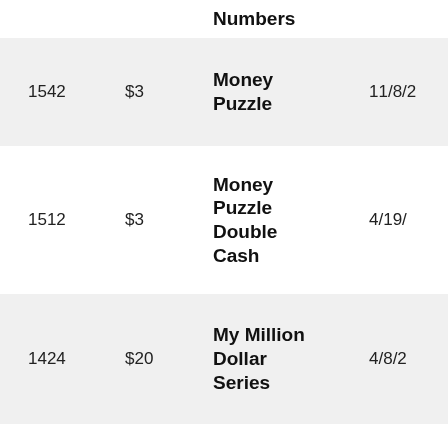|  |  | Numbers |  |
| --- | --- | --- | --- |
| 1542 | $3 | Money Puzzle | 11/8/2 |
| 1512 | $3 | Money Puzzle Double Cash | 4/19/ |
| 1424 | $20 | My Million Dollar Series | 4/8/2 |
| 1479 | $5 | Neon Riches | 8/3/2 |